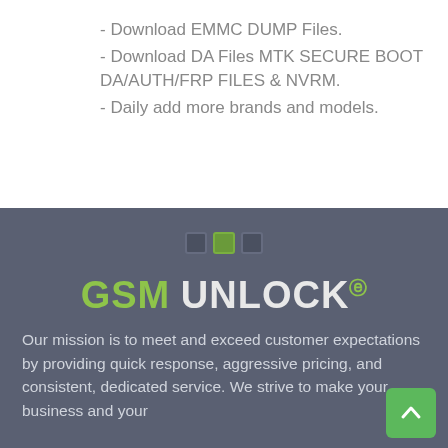- Download EMMC DUMP Files.
- Download DA Files MTK SECURE BOOT DA/AUTH/FRP FILES & NVRM.
- Daily add more brands and models.
[Figure (other): Three small square icon dots: dark, green, dark — pagination or carousel indicator]
GSM UNLOCK
Our mission is to meet and exceed customer expectations by providing quick response, aggressive pricing, and consistent, dedicated service. We strive to make your business and your